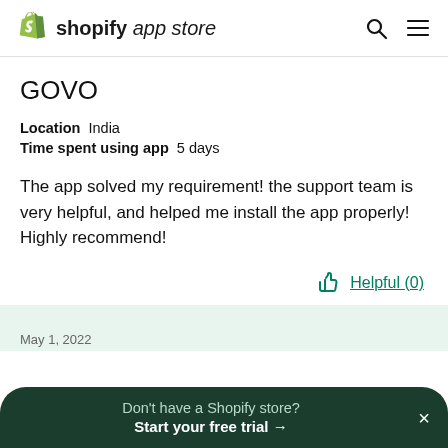shopify app store
GOVO
Location  India
Time spent using app  5 days
The app solved my requirement! the support team is very helpful, and helped me install the app properly! Highly recommend!
Helpful (0)
Don't have a Shopify store?
Start your free trial →
May 1, 2022